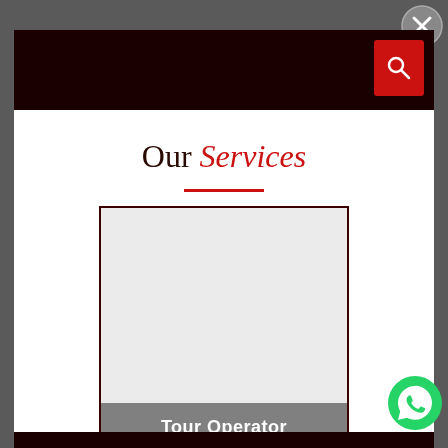[Figure (screenshot): Close button (X in circle) on dark grey background, top right corner]
[Figure (screenshot): Dark maroon navigation header bar with red search button containing magnifying glass icon]
Our Services
[Figure (other): Service card with light grey image placeholder area and grey label bar reading 'Tour Operator']
[Figure (other): WhatsApp green circle button with phone icon, bottom right]